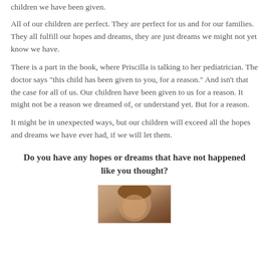children we have been given.
All of our children are perfect. They are perfect for us and for our families. They all fulfill our hopes and dreams, they are just dreams we might not yet know we have.
There is a part in the book, where Priscilla is talking to her pediatrician. The doctor says "this child has been given to you, for a reason." And isn't that the case for all of us. Our children have been given to us for a reason. It might not be a reason we dreamed of, or understand yet. But for a reason.
It might be in unexpected ways, but our children will exceed all the hopes and dreams we have ever had, if we will let them.
Do you have any hopes or dreams that have not happened like you thought?
[Figure (photo): Partial photo of a person, cropped at bottom of page]